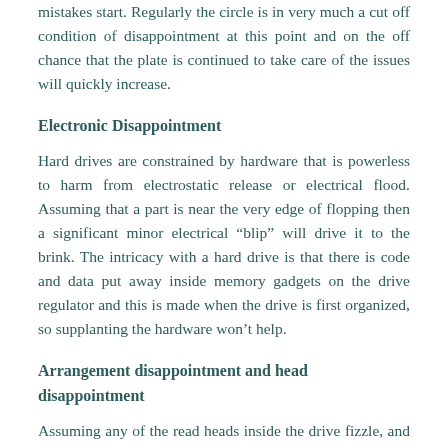mistakes start. Regularly the circle is in very much a cut off condition of disappointment at this point and on the off chance that the plate is continued to take care of the issues will quickly increase.
Electronic Disappointment
Hard drives are constrained by hardware that is powerless to harm from electrostatic release or electrical flood. Assuming that a part is near the very edge of flopping then a significant minor electrical “blip” will drive it to the brink. The intricacy with a hard drive is that there is code and data put away inside memory gadgets on the drive regulator and this is made when the drive is first organized, so supplanting the hardware won’t help.
Arrangement disappointment and head disappointment
Assuming any of the read heads inside the drive fizzle, and can at this point don’t transform the attractive sign going past into something that can be decoded by the drive